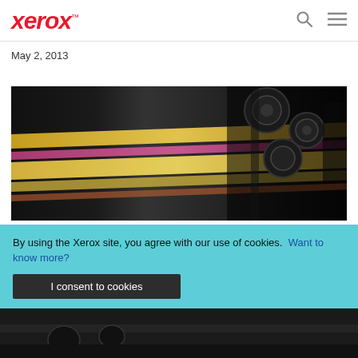xerox™
May 2, 2013
[Figure (photo): Close-up of a high-speed printing press with colorful paper running through rollers, showing yellow, pink, and multicolor streams of paper in motion.]
#PrintWins: Celebrating Successes; Imagining the F...
By using the Xerox site, you agree with our use of cookies.  Want to know more?
I consent to cookies
[Figure (photo): Bottom strip showing another printing press image, dark tones.]